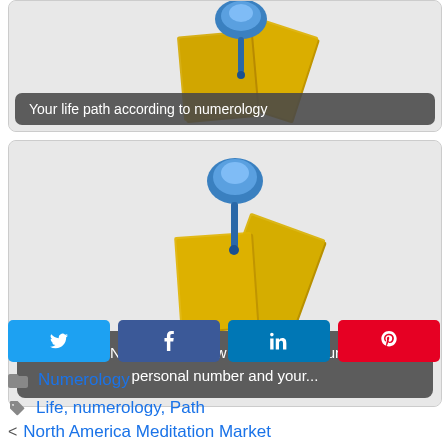[Figure (illustration): A blue thumbtack pin on yellow sticky note paper, partially cropped at top, with caption overlay 'Your life path according to numerology']
[Figure (illustration): A blue thumbtack pin on yellow sticky note paper, full card with rounded border, with caption overlay 'Numerology: how to calculate your personal number and your...']
Social share buttons: Twitter, Facebook, LinkedIn, Pinterest
Numerology
Life, numerology, Path
< North America Meditation Market